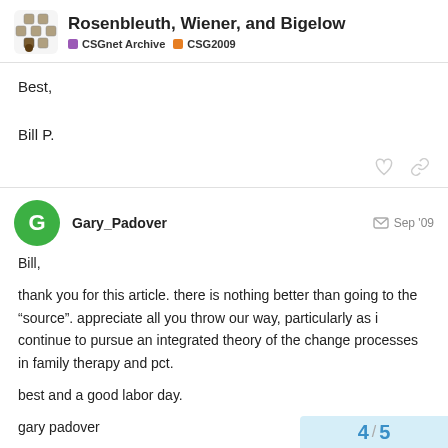Rosenbleuth, Wiener, and Bigelow | CSGnet Archive | CSG2009
Best,

Bill P.
Gary_Padover Sep '09
Bill,

thank you for this article. there is nothing better than going to the “source”. appreciate all you throw our way, particularly as i continue to pursue an integrated theory of the change processes in family therapy and pct.

best and a good labor day.

gary padover
4 / 5